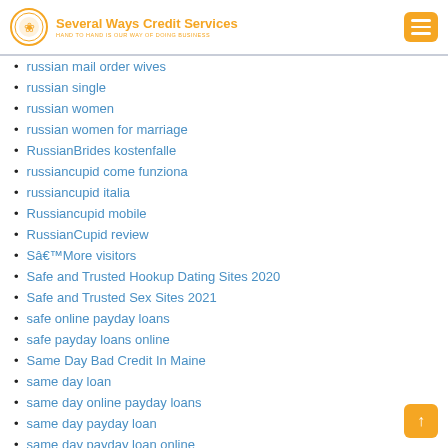Several Ways Credit Services — HAND TO HAND IS OUR WAY OF DOING BUSINESS
russian mail order wives
russian single
russian women
russian women for marriage
RussianBrides kostenfalle
russiancupid come funziona
russiancupid italia
Russiancupid mobile
RussianCupid review
Sâ€™More visitors
Safe and Trusted Hookup Dating Sites 2020
Safe and Trusted Sex Sites 2021
safe online payday loans
safe payday loans online
Same Day Bad Credit In Maine
same day loan
same day online payday loans
same day payday loan
same day payday loan online